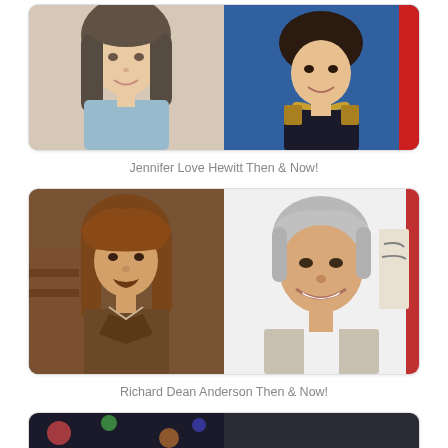[Figure (photo): Jennifer Love Hewitt Then & Now — two side-by-side photos: young Jennifer with long dark hair in blue top (then), and adult Jennifer with short wavy dark hair at event (now)]
Jennifer Love Hewitt Then & Now!
[Figure (photo): Richard Dean Anderson Then & Now — two side-by-side photos: younger Richard with medium-length brown hair in brown jacket (then), and older Richard with gray hair smiling in light jacket (now)]
Richard Dean Anderson Then & Now!
[Figure (photo): Third celebrity Then & Now — partially visible photos of a blonde/gray-haired person at bottom of page]